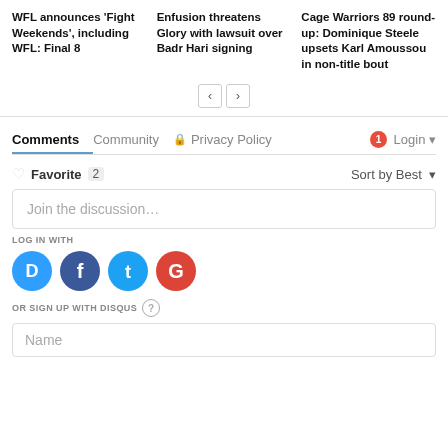WFL announces 'Fight Weekends', including WFL: Final 8
Enfusion threatens Glory with lawsuit over Badr Hari signing
Cage Warriors 89 round-up: Dominique Steele upsets Karl Amoussou in non-title bout
Comments  Community  Privacy Policy  1  Login
Favorite  2  Sort by Best
Join the discussion...
LOG IN WITH
OR SIGN UP WITH DISQUS
Name